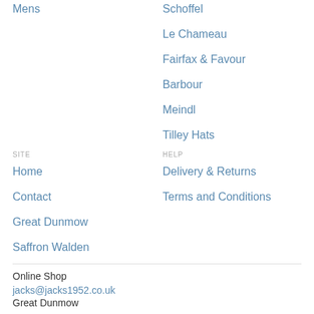Mens
Schoffel
Le Chameau
Fairfax & Favour
Barbour
Meindl
Tilley Hats
SITE
HELP
Home
Delivery & Returns
Contact
Terms and Conditions
Great Dunmow
Saffron Walden
Online Shop
jacks@jacks1952.co.uk
Great Dunmow